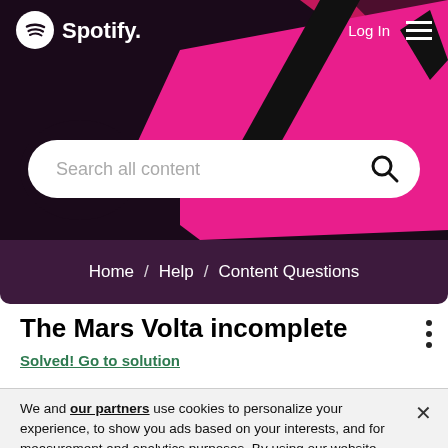[Figure (screenshot): Spotify header with pink and black decorative background shapes, Spotify logo top left, Log In and hamburger menu top right, search bar, and breadcrumb navigation showing Home / Help / Content Questions]
The Mars Volta incomplete
Solved! Go to solution
We and our partners use cookies to personalize your experience, to show you ads based on your interests, and for measurement and analytics purposes. By using our website and services, you agree to our use of